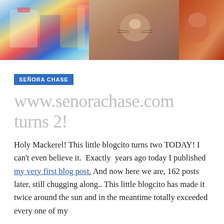[Figure (photo): Header image showing three photos side by side: colorful items on the left, a close-up of a cat in the middle, and a dog or animal on the right with reddish tones.]
SEÑORA CHASE
www.senorachase.com turns 2!
Holy Mackerel! This little blogcito turns two TODAY! I can't even believe it.  Exactly  years ago today I published my very first blog post. And now here we are, 162 posts later, still chugging along.. This little blogcito has made it twice around the sun and in the meantime totally exceeded every one of my